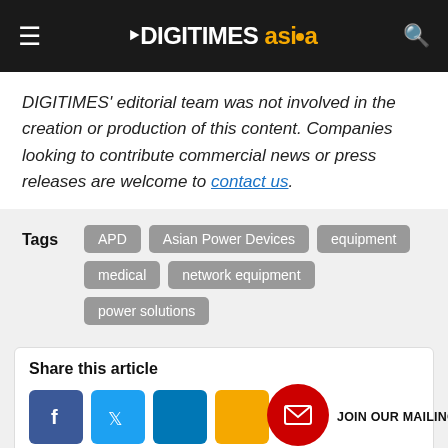DIGITIMES asia
DIGITIMES' editorial team was not involved in the creation or production of this content. Companies looking to contribute commercial news or press releases are welcome to contact us.
Tags: APD, Asian Power Devices, equipment, medical, network equipment, power solutions
Share this article
JOIN OUR MAILING LIST
Other links